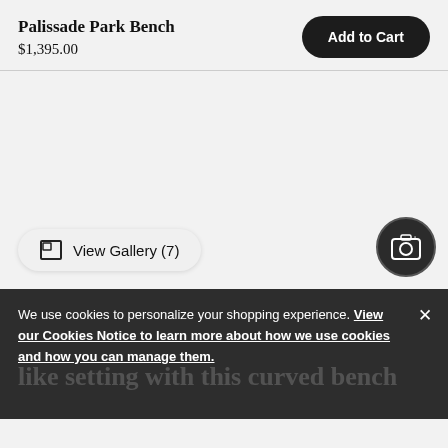Palissade Park Bench
$1,395.00
[Figure (screenshot): Large empty product image area with light gray background (product image not loaded or off-screen)]
View Gallery (7)
We use cookies to personalize your shopping experience. View our Cookies Notice to learn more about how we use cookies and how you can manage them.